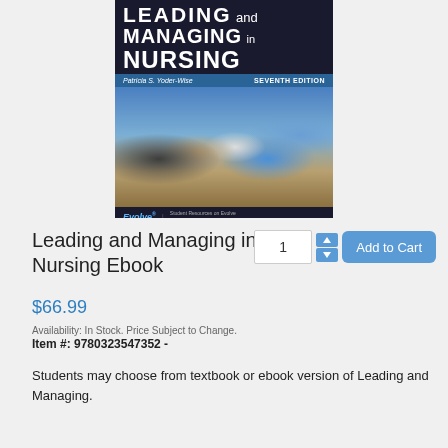[Figure (photo): Book cover of 'Leading and Managing in Nursing', Seventh Edition by Patricia S. Yoder-Wise. Dark background with title text, author bar, photo of healthcare professionals at a meeting, and Evolve/Elsevier branding at the bottom.]
Leading and Managing in Nursing Ebook
$66.99
Availability: In Stock. Price Subject to Change.
Item #: 9780323547352 -
Students may choose from textbook or ebook version of Leading and Managing.